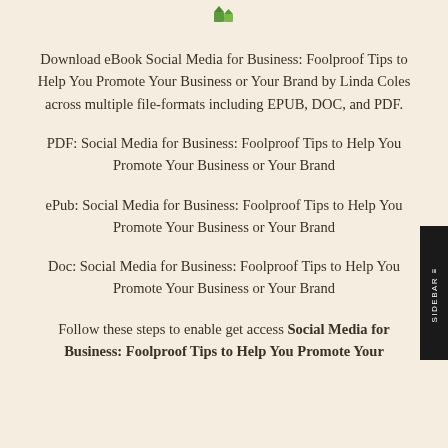[Figure (logo): Small green leaf/book logo icon at top center]
Download eBook Social Media for Business: Foolproof Tips to Help You Promote Your Business or Your Brand by Linda Coles across multiple file-formats including EPUB, DOC, and PDF.
PDF: Social Media for Business: Foolproof Tips to Help You Promote Your Business or Your Brand
ePub: Social Media for Business: Foolproof Tips to Help You Promote Your Business or Your Brand
Doc: Social Media for Business: Foolproof Tips to Help You Promote Your Business or Your Brand
Follow these steps to enable get access Social Media for Business: Foolproof Tips to Help You Promote Your